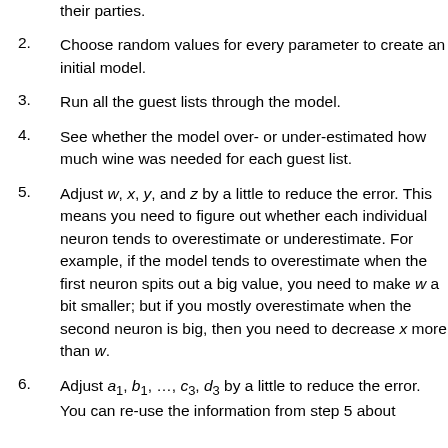their parties.
2. Choose random values for every parameter to create an initial model.
3. Run all the guest lists through the model.
4. See whether the model over- or under-estimated how much wine was needed for each guest list.
5. Adjust w, x, y, and z by a little to reduce the error. This means you need to figure out whether each individual neuron tends to overestimate or underestimate. For example, if the model tends to overestimate when the first neuron spits out a big value, you need to make w a bit smaller; but if you mostly overestimate when the second neuron is big, then you need to decrease x more than w.
6. Adjust a1, b1, ..., c3, d3 by a little to reduce the error. You can re-use the information from step 5 about